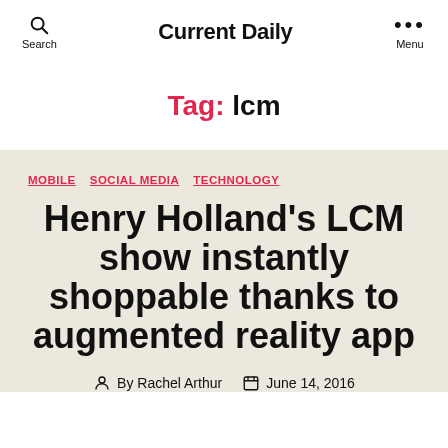Current Daily
Tag: lcm
MOBILE  SOCIAL MEDIA  TECHNOLOGY
Henry Holland's LCM show instantly shoppable thanks to augmented reality app
By Rachel Arthur   June 14, 2016